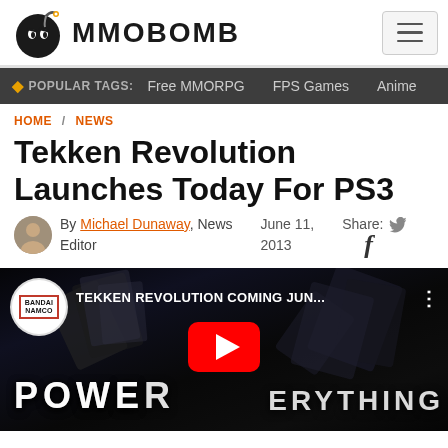MMOBOMB
POPULAR TAGS: Free MMORPG  FPS Games  Anime
HOME / NEWS
Tekken Revolution Launches Today For PS3
By Michael Dunaway, News Editor   June 11, 2013   Share:
[Figure (screenshot): YouTube video thumbnail for 'TEKKEN REVOLUTION COMING JUN...' by Bandai Namco, showing dark background with text 'POWER IS EVERYTHING' and a red YouTube play button overlay.]